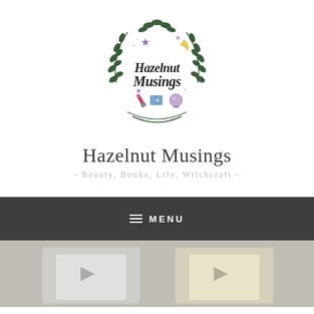[Figure (logo): Hazelnut Musings circular logo with floral wreath, stars, moon, lipstick, book, and crystal ball decorations around stylized script text]
Hazelnut Musings
- Beauty, Books, Life, Witchcraft -
MENU
[Figure (photo): Photograph showing product packaging items on a light surface, partially cropped at bottom of page]